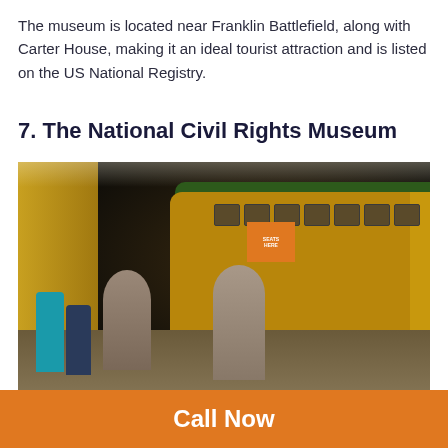The museum is located near Franklin Battlefield, along with Carter House, making it an ideal tourist attraction and is listed on the US National Registry.
7. The National Civil Rights Museum
[Figure (photo): Interior of the National Civil Rights Museum showing a vintage yellow-and-green bus exhibit with life-sized statues of people standing in front of it on a museum floor. Visitors can be seen in the background near illuminated yellow walls.]
Call Now